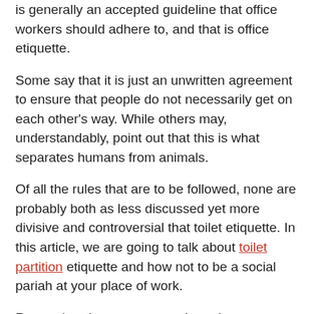is generally an accepted guideline that office workers should adhere to, and that is office etiquette.
Some say that it is just an unwritten agreement to ensure that people do not necessarily get on each other's way. While others may, understandably, point out that this is what separates humans from animals.
Of all the rules that are to be followed, none are probably both as less discussed yet more divisive and controversial that toilet etiquette. In this article, we are going to talk about toilet partition etiquette and how not to be a social pariah at your place of work.
Remember that you are not the only person who will be using the restroom. Making sure that everything is in, and that the next users will have utmost comfort is a sign that you respect that person no matter who he or she is.
Not only is toilet etiquette a social contract that people have